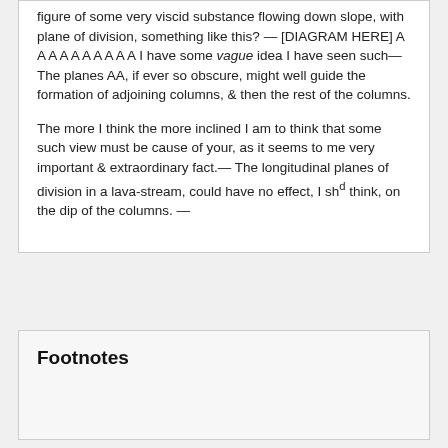figure of some very viscid substance flowing down slope, with plane of division, something like this? — [DIAGRAM HERE] A A A A A A A A A A I have some vague idea I have seen such— The planes AA, if ever so obscure, might well guide the formation of adjoining columns, & then the rest of the columns.
The more I think the more inclined I am to think that some such view must be cause of your, as it seems to me very important & extraordinary fact.— The longitudinal planes of division in a lava-stream, could have no effect, I shd think, on the dip of the columns. —
Footnotes